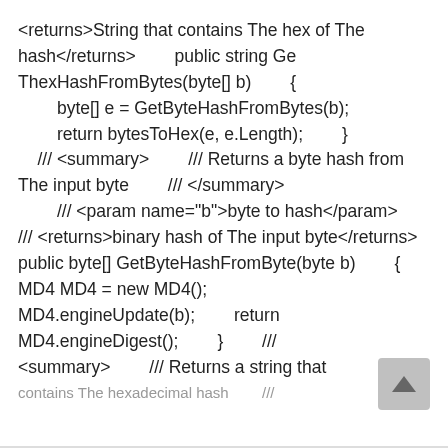<returns>String that contains The hex of The hash</returns>        public string Ge ThexHashFromBytes(byte[] b)        {         byte[] e = GetByteHashFromBytes(b);         return bytesToHex(e, e.Length);        }    /// <summary>        /// Returns a byte hash from The input byte        /// </summary>        /// <param name="b">byte to hash</param>        /// <returns>binary hash of The input byte</returns>        public byte[] GetByteHashFromByte(byte b)        { MD4 MD4 = new MD4(); MD4.engineUpdate(b);        return MD4.engineDigest();        }        /// <summary>        /// Returns a string that contains The hexadecimal hash        ///